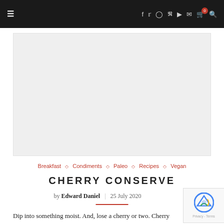Navigation bar with hamburger menu, social icons (f, twitter, instagram, pinterest, youtube, mail, cart, search), cart badge showing 0
[Figure (other): Large light gray advertisement or image placeholder rectangle]
Breakfast ◇ Condiments ◇ Paleo ◇ Recipes ◇ Vegan
CHERRY CONSERVE
by Edward Daniel | 25 July 2020
Dip into something moist. And, lose a cherry or two. Cherry